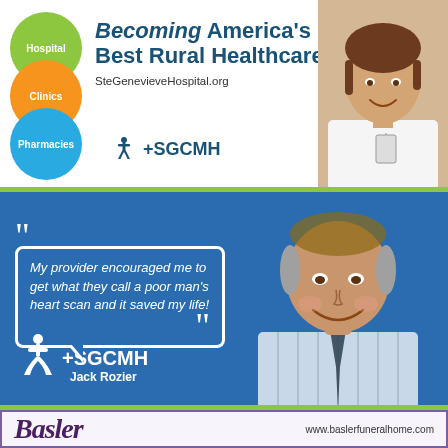[Figure (infographic): SGCMH hospital advertisement: colored overlapping circles (Hospital, Clinics, Pharmacies), headline 'Becoming America's Best Rural Healthcare', URL SteGenevieveHospital.org, SGCMH logo, and a photo of a smiling woman in scrubs.]
[Figure (infographic): SGCMH blue advertisement with patient testimonial quote from Jack Rozier: 'My provider encouraged me to get what they call a poor man's heart scan and it saved my life!' with SGCMH logo and photo of smiling older man.]
[Figure (infographic): Basler Funeral Home advertisement with script logo and website www.baslerfuneralhome.com on purple-bordered background.]